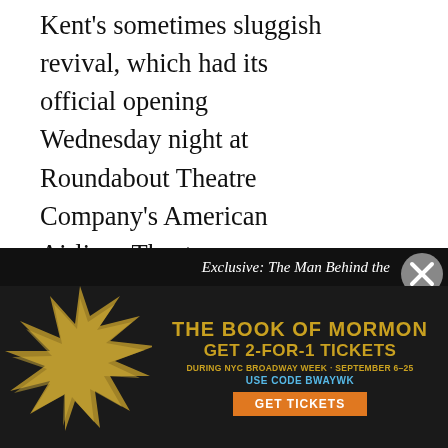Kent's sometimes sluggish revival, which had its official opening Wednesday night at Roundabout Theatre Company's American Airlines Theatre, intermittently grabs hold incisively of the toxicity that feeds the Tyrones. Byrne, especially, with the contemptuous manner of a man who takes his personal sense of failure out on others, gives a resonant account of what eats away at everyone in the house. But there are shortcomings, too, in this three hour, 45-minute production, which allow the longueurs to intrude and encourage the impression that we're on not one day's journey, but a minimum of two.
[Figure (infographic): Share panel with Twitter and Facebook icons]
Exclusive: The Man Behind the
[Figure (infographic): Advertisement for The Book of Mormon - GET 2-FOR-1 TICKETS DURING NYC BROADWAY WEEK · SEPTEMBER 6-25 USE CODE BWAYWK GET TICKETS]